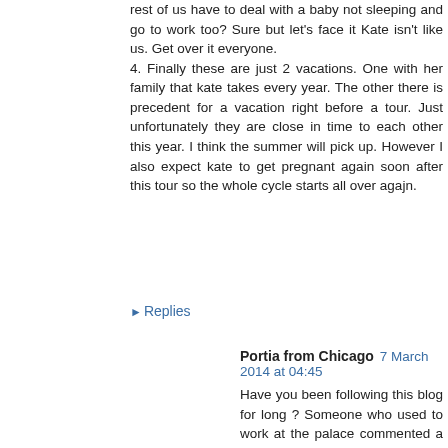rest of us have to deal with a baby not sleeping and go to work too? Sure but let's face it Kate isn't like us. Get over it everyone.
4. Finally these are just 2 vacations. One with her family that kate takes every year. The other there is precedent for a vacation right before a tour. Just unfortunately they are close in time to each other this year. I think the summer will pick up. However I also expect kate to get pregnant again soon after this tour so the whole cycle starts all over agajn.
Reply
Replies
Portia from Chicago 7 March 2014 at 04:45
Have you been following this blog for long ? Someone who used to work at the palace commented a few times how the Queen is NOT involved with the number of engagements or pace of work Royals set for themselves. They are in charge of their schedules. This has also been validated numerous times in the press - and even by William and Kate's office. The fact